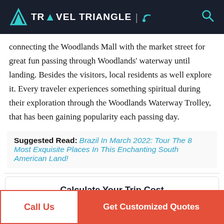TRAVEL TRIANGLE
connecting the Woodlands Mall with the market street for great fun passing through Woodlands' waterway until landing. Besides the visitors, local residents as well explore it. Every traveler experiences something spiritual during their exploration through the Woodlands Waterway Trolley, that has been gaining popularity each passing day.
Suggested Read: Brazil In March 2022: Tour The 8 Most Exquisite Places In This Enchanting South American Land!
Calculate Your Trip Cost
Select Destination
Call Us
Get Customized Quotes